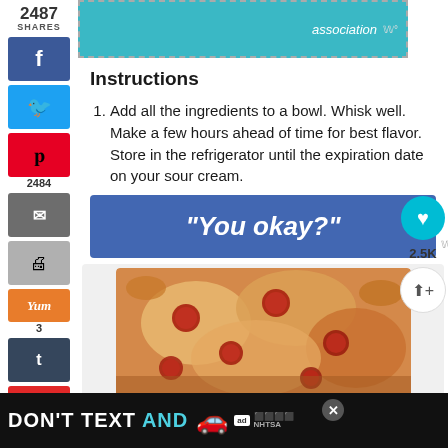[Figure (screenshot): Top partial advertisement banner with teal background and 'association' text]
2487 SHARES
Instructions
Add all the ingredients to a bowl. Whisk well. Make a few hours ahead of time for best flavor. Store in the refrigerator until the expiration date on your sour cream.
[Figure (screenshot): Blue banner advertisement with text "You okay?"]
[Figure (photo): Photo of pepperoni pizza slices on a wooden board]
[Figure (screenshot): Bottom advertisement banner with text DON'T TEXT AND with car graphic and NHTSA logo on black background]